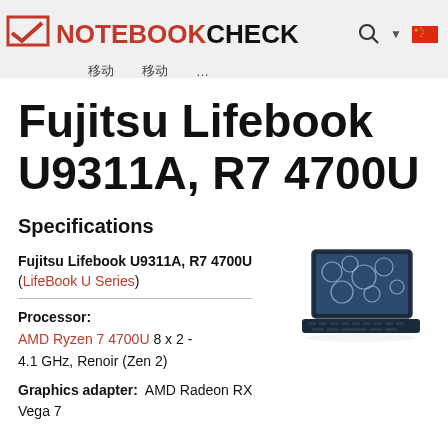NOTEBOOKCHECK
Fujitsu Lifebook U9311A, R7 4700U
Specifications
Fujitsu Lifebook U9311A, R7 4700U (LifeBook U Series)
[Figure (photo): Laptop product photo of Fujitsu Lifebook U9311A showing the screen and keyboard at an angle]
Processor: AMD Ryzen 7 4700U 8 x 2 - 4.1 GHz, Renoir (Zen 2)
Graphics adapter: AMD Radeon RX Vega 7